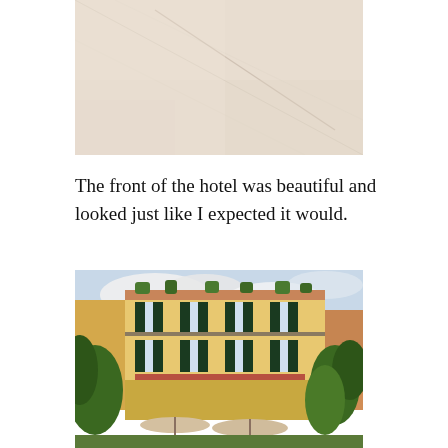[Figure (photo): Close-up photo of a light beige/cream textured surface, possibly a wall or floor with a faint diagonal line or crack]
The front of the hotel was beautiful and looked just like I expected it would.
[Figure (photo): Photo of the front facade of a charming Italian-style hotel building with yellow/cream exterior walls, dark green shuttered windows, a rooftop terrace with plants, lush green hedges and trees in foreground, outdoor seating with umbrellas at ground level, blue sky with clouds in background]